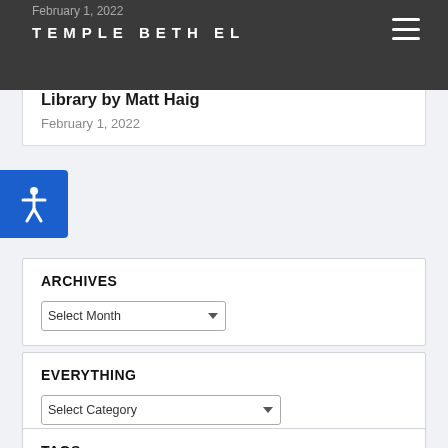TEMPLE BETH EL
February 1, 2022
Book Club February 2022 – The Midnight Library by Matt Haig
February 1, 2022
ARCHIVES
Select Month
EVERYTHING
Select Category
TAGS